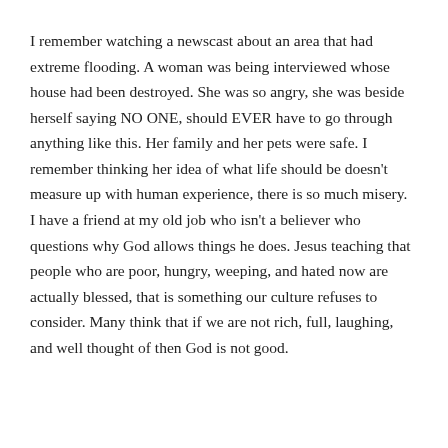I remember watching a newscast about an area that had extreme flooding. A woman was being interviewed whose house had been destroyed. She was so angry, she was beside herself saying NO ONE, should EVER have to go through anything like this. Her family and her pets were safe. I remember thinking her idea of what life should be doesn't measure up with human experience, there is so much misery.
I have a friend at my old job who isn't a believer who questions why God allows things he does. Jesus teaching that people who are poor, hungry, weeping, and hated now are actually blessed, that is something our culture refuses to consider. Many think that if we are not rich, full, laughing, and well thought of then God is not good.